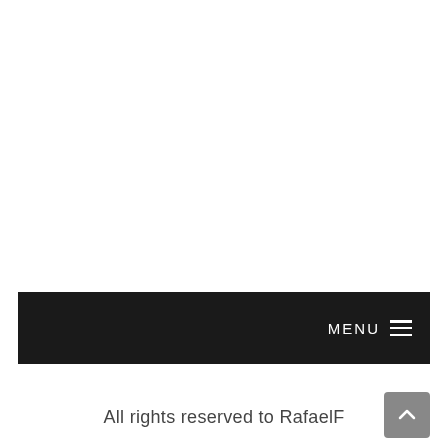MENU ≡
All rights reserved to RafaelF